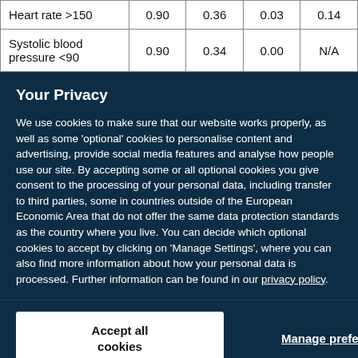| Heart rate >150 | 0.90 | 0.36 | 0.03 | 0.14 |
| Systolic blood pressure <90 | 0.90 | 0.34 | 0.00 | N/A |
Your Privacy
We use cookies to make sure that our website works properly, as well as some 'optional' cookies to personalise content and advertising, provide social media features and analyse how people use our site. By accepting some or all optional cookies you give consent to the processing of your personal data, including transfer to third parties, some in countries outside of the European Economic Area that do not offer the same data protection standards as the country where you live. You can decide which optional cookies to accept by clicking on 'Manage Settings', where you can also find more information about how your personal data is processed. Further information can be found in our privacy policy.
Accept all cookies
Manage preferences